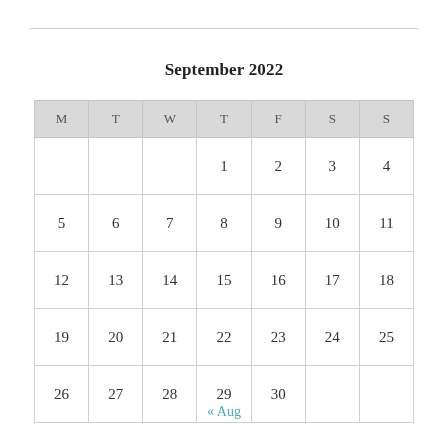September 2022
| M | T | W | T | F | S | S |
| --- | --- | --- | --- | --- | --- | --- |
|  |  |  | 1 | 2 | 3 | 4 |
| 5 | 6 | 7 | 8 | 9 | 10 | 11 |
| 12 | 13 | 14 | 15 | 16 | 17 | 18 |
| 19 | 20 | 21 | 22 | 23 | 24 | 25 |
| 26 | 27 | 28 | 29 | 30 |  |  |
« Aug